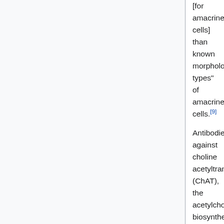[for amacrine cells] than known morphological types" of amacrine cells.[9]
Antibodies against choline acetyltransferase (ChAT), the acetylcholine biosynthetic enzyme, are useful in staining amacrine cells in the retina, as it has been thought for some time that amacrine cells are the only cholinergic retinal neurons.[10] However, at least one study has shown that there may exist cholinergic ganglion cells through staining against an alternative splice variant of ChAT mRNA in rat retina.[10]
Staining the retina against tyrosine hydroxylase (TH), a key enzyme in the dopamine biosynthetic pathway, reveals the dopaminergic amacrine cells.[11] It should be noted, though, that (nor)adrenergic cells also contain TH,